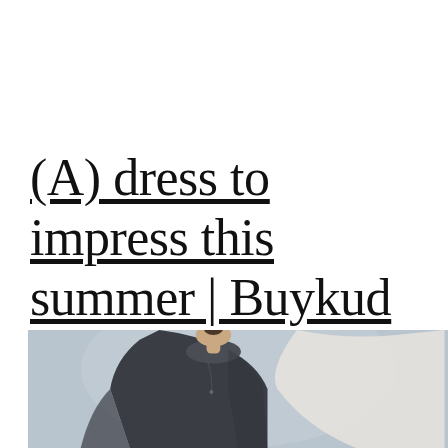(A) dress to impress this summer | Buykud
[Figure (photo): A woman in a dark navy/charcoal long-sleeve dress with a round neckline, photographed from roughly waist up, against a soft grey-blue background. She appears to be holding or wearing a light-coloured garment alongside. A simple pendant necklace is visible.]